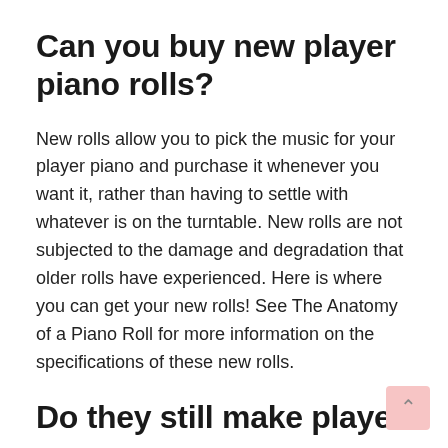Can you buy new player piano rolls?
New rolls allow you to pick the music for your player piano and purchase it whenever you want it, rather than having to settle with whatever is on the turntable. New rolls are not subjected to the damage and degradation that older rolls have experienced. Here is where you can get your new rolls! See The Anatomy of a Piano Roll for more information on the specifications of these new rolls.
Do they still make player